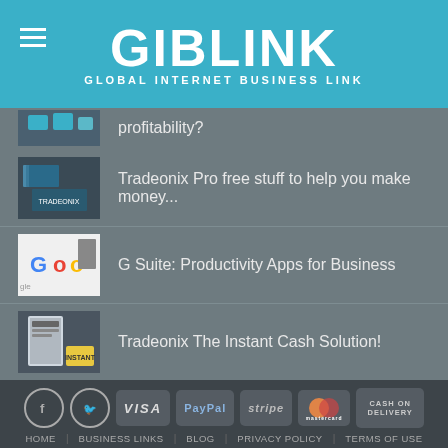GIBLINK GLOBAL INTERNET BUSINESS LINK
profitability?
Tradeonix Pro free stuff to help you make money...
G Suite: Productivity Apps for Business
Tradeonix The Instant Cash Solution!
Tradeonix – A proven, 20-minute a day cash system!
HOME  BUSINESS LINKS  BLOG  PRIVACY POLICY  TERMS OF USE